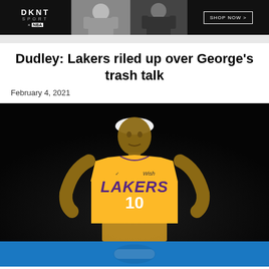[Figure (photo): DKNT x NBA Sport advertisement banner with two female models wearing NBA-branded clothing, a shop now button]
Dudley: Lakers riled up over George's trash talk
February 4, 2021
[Figure (photo): Jared Dudley wearing Los Angeles Lakers yellow jersey number 10 with white headband, standing on dark background basketball court]
[Figure (photo): Bottom advertisement banner in blue]